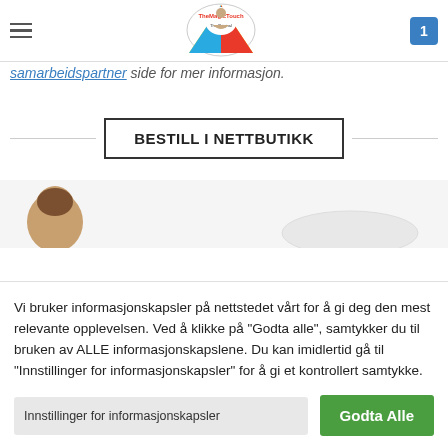TheMagicTouch logo, hamburger menu, cart badge 1
samarbeidspartner side for mer informasjon.
BESTILL I NETTBUTIKK
[Figure (photo): Partial photo of a person's head and a white object visible at bottom of image strip]
Vi bruker informasjonskapsler på nettstedet vårt for å gi deg den mest relevante opplevelsen. Ved å klikke på "Godta alle", samtykker du til bruken av ALLE informasjonskapslene. Du kan imidlertid gå til "Innstillinger for informasjonskapsler" for å gi et kontrollert samtykke.
Innstillinger for informasjonskapsler
Godta Alle